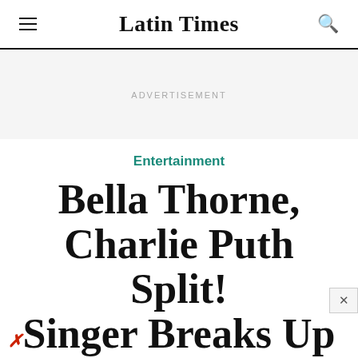Latin Times
ADVERTISEMENT
Entertainment
Bella Thorne, Charlie Puth Split! Singer Breaks Up